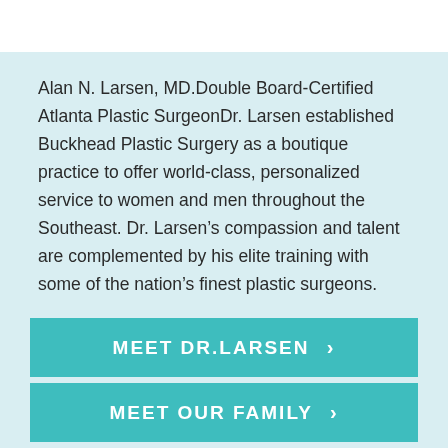Alan N. Larsen, MD.Double Board-Certified Atlanta Plastic SurgeonDr. Larsen established Buckhead Plastic Surgery as a boutique practice to offer world-class, personalized service to women and men throughout the Southeast. Dr. Larsen’s compassion and talent are complemented by his elite training with some of the nation’s finest plastic surgeons.
[Figure (screenshot): Teal button with white uppercase text MEET DR.LARSEN and a right-pointing chevron]
[Figure (screenshot): Chat bubble overlay with text 'Can I help you?' and a doctor avatar illustration in scrubs]
[Figure (screenshot): Teal button with white uppercase text MEET OUR FAMILY and a right-pointing chevron, partially visible]